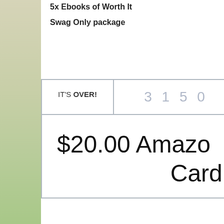5x Ebooks of Worth It
Swag Only package
IT'S OVER! | 3150
$20.00 Amazon Card